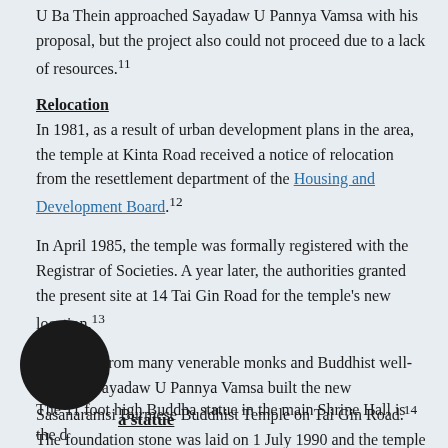U Ba Thein approached Sayadaw U Pannya Vamsa with his proposal, but the project also could not proceed due to a lack of resources.11
Relocation
In 1981, as a result of urban development plans in the area, the temple at Kinta Road received a notice of relocation from the resettlement department of the Housing and Development Board.12
In April 1985, the temple was formally registered with the Registrar of Societies. A year later, the authorities granted the present site at 14 Tai Gin Road for the temple's new location.13
With help from many venerable monks and Buddhist well-wishers, Sayadaw U Pannya Vamsa built the new Sasanaramsi Burmese Buddhist Temple on Tai Gin Road.14 The foundation stone was laid on 1 July 1990 and the temple inaugurated on 20 December 1991.15 Construction was completed around March 1992.16
[Figure (photo): Dark circular element overlaying bottom-left of page, partially obscuring section header text]
a statue
The 11 foot high Buddha statue in the main Shrine Hall is the d...